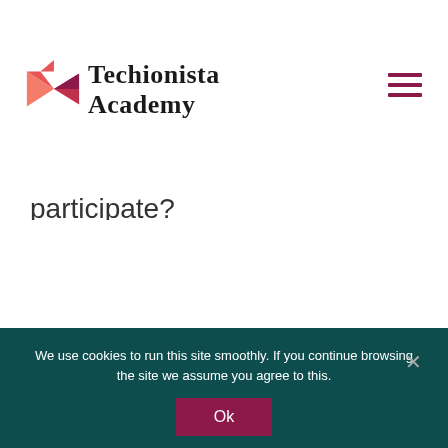Techionista Academy
participate?
TECHIONISTA
Our courses
We use cookies to run this site smoothly. If you continue browsing the site we assume you agree to this.